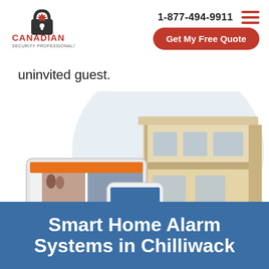[Figure (logo): Canadian Security Professionals logo — padlock with maple leaf icon above text CANADIAN SECURITY PROFESSIONALS]
1-877-494-9911  Get My Free Quote
uninvited guest.
[Figure (photo): Hero image showing a modern house with a light blue circular background, a tablet displaying security camera feeds, and a smartphone showing an alarm control app]
Smart Home Alarm Systems in Chilliwack